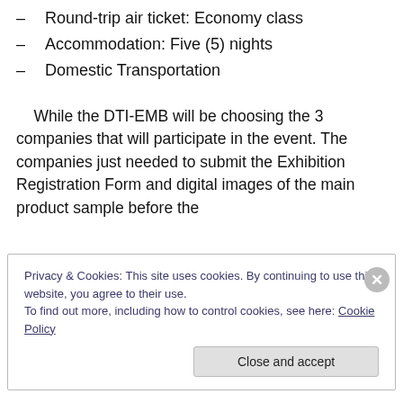– Round-trip air ticket: Economy class
– Accommodation: Five (5) nights
– Domestic Transportation
While the DTI-EMB will be choosing the 3 companies that will participate in the event. The companies just needed to submit the Exhibition Registration Form and digital images of the main product sample before the
Privacy & Cookies: This site uses cookies. By continuing to use this website, you agree to their use.
To find out more, including how to control cookies, see here: Cookie Policy
Close and accept